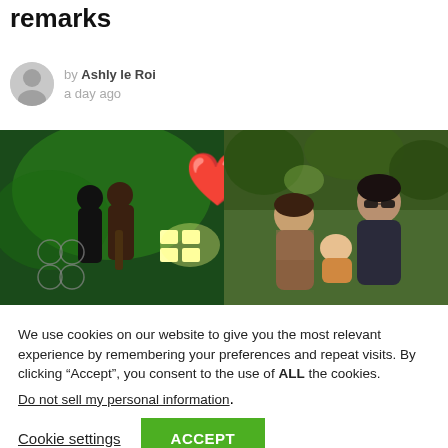remarks
by Ashly le Roi
a day ago
[Figure (photo): Two side-by-side photos: left shows two people kissing on a stage with green lighting and a guitar, right shows a couple with a baby outdoors in a forest setting. A red heart emoji overlays the center between the two photos.]
We use cookies on our website to give you the most relevant experience by remembering your preferences and repeat visits. By clicking “Accept”, you consent to the use of ALL the cookies.
Do not sell my personal information.
Cookie settings    ACCEPT